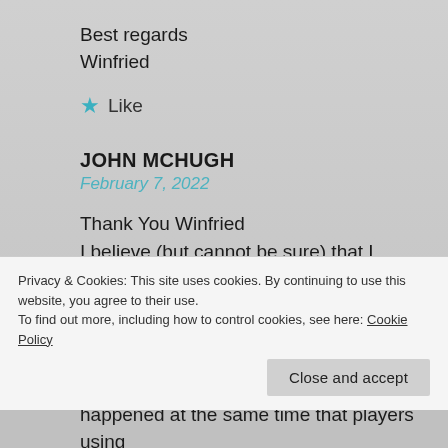Best regards
Winfried
★ Like
JOHN MCHUGH
February 7, 2022
Thank You Winfried
I believe (but cannot be sure) that I unwrapped all the indirections (downloaded and examined m3u file to extract the actual (I think) stream.
Privacy & Cookies: This site uses cookies. By continuing to use this website, you agree to their use.
To find out more, including how to control cookies, see here: Cookie Policy
Close and accept
happened at the same time that players using